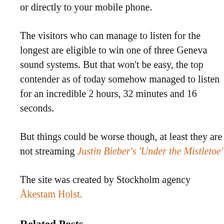or directly to your mobile phone.
The visitors who can manage to listen for the longest are eligible to win one of three Geneva sound systems. But that won't be easy, the top contender as of today somehow managed to listen for an incredible 2 hours, 32 minutes and 16 seconds.
But things could be worse though, at least they are not streaming Justin Bieber's 'Under the Mistletoe'
The site was created by Stockholm agency Åkestam Holst.
Related Posts
Swedish Electronics Store Promo Invites